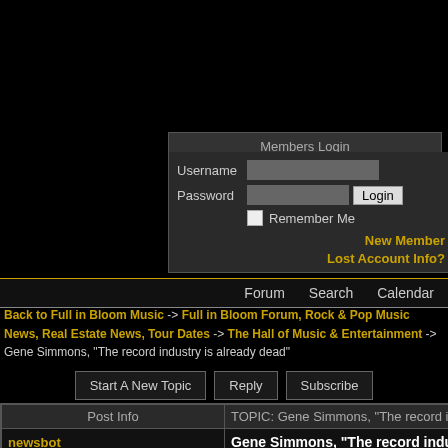Members Login
Username | Password | Login | Remember Me
New Member
Lost Account Info?
Forum  Search  Calendar
Back to Full in Bloom Music -> Full in Bloom Forum, Rock & Pop Music News, Real Estate News, Tour Dates -> The Hall of Music & Entertainment -> Gene Simmons, "The record industry is already dead"
Start A New Topic  Reply  Subscribe
| Post Info | TOPIC: Gene Simmons, "The record indu... |
| --- | --- |
| newsbot
[image: Weekly World News / Mutant steals...] | Gene Simmons, "The record indu... already dead" |